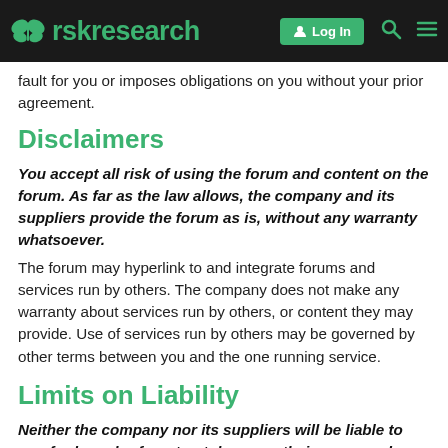rskresearch — Log In
fault for you or imposes obligations on you without your prior agreement.
Disclaimers
You accept all risk of using the forum and content on the forum. As far as the law allows, the company and its suppliers provide the forum as is, without any warranty whatsoever.
The forum may hyperlink to and integrate forums and services run by others. The company does not make any warranty about services run by others, or content they may provide. Use of services run by others may be governed by other terms between you and the one running service.
Limits on Liability
Neither the company nor its suppliers will be liable to you for breach-of-contract damages their personnel could not have reasonably foreseen when you agreed to these terms.